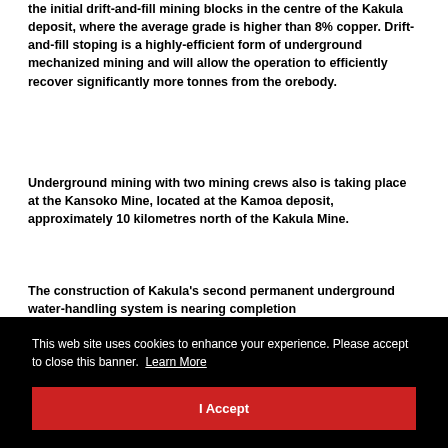the initial drift-and-fill mining blocks in the centre of the Kakula deposit, where the average grade is higher than 8% copper. Drift-and-fill stoping is a highly-efficient form of underground mechanized mining and will allow the operation to efficiently recover significantly more tonnes from the orebody.
Underground mining with two mining crews also is taking place at the Kansoko Mine, located at the Kamoa deposit, approximately 10 kilometres north of the Kakula Mine.
The construction of Kakula's second permanent underground water-handling system is nearing completion
...ly ...the ...er ...e
...and
...ibility study for the development of the 6 Mtpa Kakula Mine on
This web site uses cookies to enhance your experience. Please accept to close this banner. Learn More
I Accept